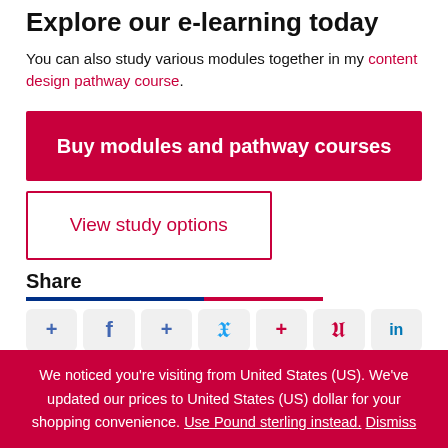Explore our e-learning today
You can also study various modules together in my content design pathway course.
Buy modules and pathway courses
View study options
Share
[Figure (infographic): Social share buttons row: AddThis plus, Facebook, AddThis plus, Twitter, AddThis plus (Pinterest color), Pinterest, LinkedIn icons]
We noticed you're visiting from United States (US). We've updated our prices to United States (US) dollar for your shopping convenience. Use Pound sterling instead. Dismiss